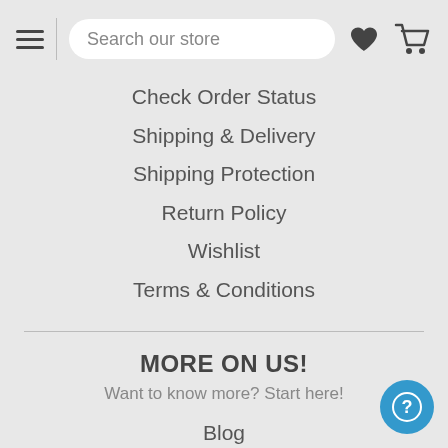Search our store
Check Order Status
Shipping & Delivery
Shipping Protection
Return Policy
Wishlist
Terms & Conditions
MORE ON US!
Want to know more? Start here!
Blog
Learning Center
Our Story
Site Map
Get in touch